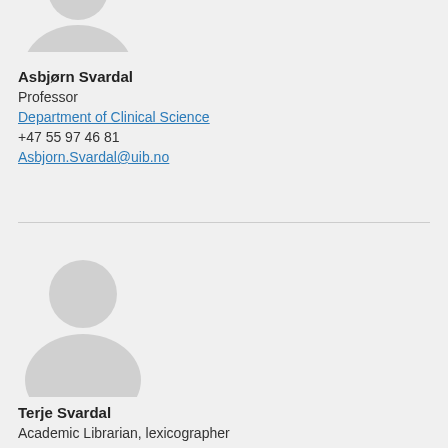[Figure (illustration): Partial generic placeholder avatar (head/torso silhouette in light grey) cropped at top of page]
Asbjørn Svardal
Professor
Department of Clinical Science
+47 55 97 46 81
Asbjorn.Svardal@uib.no
[Figure (illustration): Generic placeholder avatar (head/torso silhouette in light grey)]
Terje Svardal
Academic Librarian, lexicographer